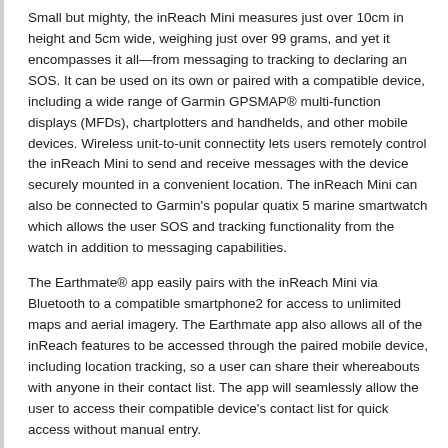Small but mighty, the inReach Mini measures just over 10cm in height and 5cm wide, weighing just over 99 grams, and yet it encompasses it all—from messaging to tracking to declaring an SOS. It can be used on its own or paired with a compatible device, including a wide range of Garmin GPSMAP® multi-function displays (MFDs), chartplotters and handhelds, and other mobile devices. Wireless unit-to-unit connectity lets users remotely control the inReach Mini to send and receive messages with the device securely mounted in a convenient location. The inReach Mini can also be connected to Garmin's popular quatix 5 marine smartwatch which allows the user SOS and tracking functionality from the watch in addition to messaging capabilities.
The Earthmate® app easily pairs with the inReach Mini via Bluetooth to a compatible smartphone2 for access to unlimited maps and aerial imagery. The Earthmate app also allows all of the inReach features to be accessed through the paired mobile device, including location tracking, so a user can share their whereabouts with anyone in their contact list. The app will seamlessly allow the user to access their compatible device's contact list for quick access without manual entry.